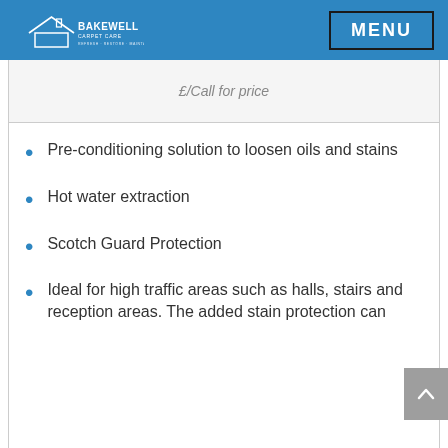Bakewell Carpet Care — MENU
£/Call for price
Pre-conditioning solution to loosen oils and stains
Hot water extraction
Scotch Guard Protection
Ideal for high traffic areas such as halls, stairs and reception areas. The added stain protection can